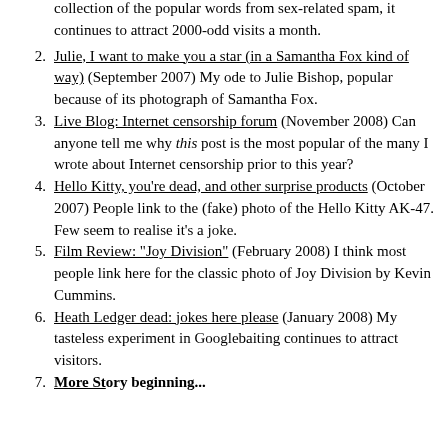(intro) collection of the popular words from sex-related spam, it continues to attract 2000-odd visits a month.
2. Julie, I want to make you a star (in a Samantha Fox kind of way) (September 2007) My ode to Julie Bishop, popular because of its photograph of Samantha Fox.
3. Live Blog: Internet censorship forum (November 2008) Can anyone tell me why this post is the most popular of the many I wrote about Internet censorship prior to this year?
4. Hello Kitty, you're dead, and other surprise products (October 2007) People link to the (fake) photo of the Hello Kitty AK-47. Few seem to realise it's a joke.
5. Film Review: "Joy Division" (February 2008) I think most people link here for the classic photo of Joy Division by Kevin Cummins.
6. Heath Ledger dead: jokes here please (January 2008) My tasteless experiment in Googlebaiting continues to attract visitors.
7. More Story beginning... (September 2006) A...